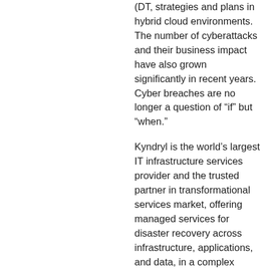(DT, strategies and plans in hybrid cloud environments. The number of cyberattacks and their business impact have also grown significantly in recent years. Cyber breaches are no longer a question of “if” but “when.”
Kyndryl is the world’s largest IT infrastructure services provider and the trusted partner in transformational services market, offering managed services for disaster recovery across infrastructure, applications, and data, in a complex multi-technology multicloud environment. Our service offers simplified management of complex hybrid IT for greater